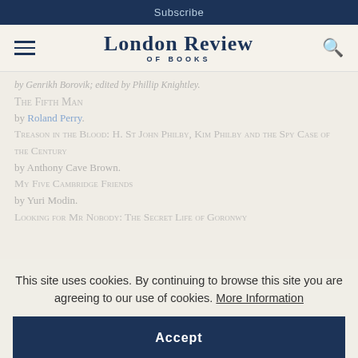Subscribe
London Review OF BOOKS
by Genrikh Borovik; edited by Phillip Knightley.
The Fifth Man
by Roland Perry.
Treason in the Blood: H. St John Philby, Kim Philby and the Spy Case of the Century
by Anthony Cave Brown.
My Five Cambridge Friends
by Yuri Modin.
Looking for Mr Nobody: The Secret Life of Goronwy
This site uses cookies. By continuing to browse this site you are agreeing to our use of cookies. More Information
Accept